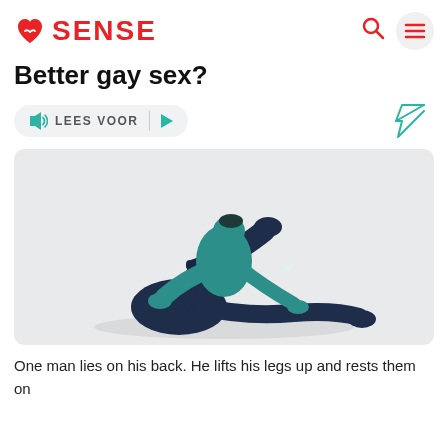SENSE
Better gay sex?
LEES VOOR
[Figure (illustration): Two stylized figures in dark navy and teal, one lying on his back with legs raised, the other positioned over him, depicted as low-poly 3D silhouettes on a light grey background.]
One man lies on his back. He lifts his legs up and rests them on